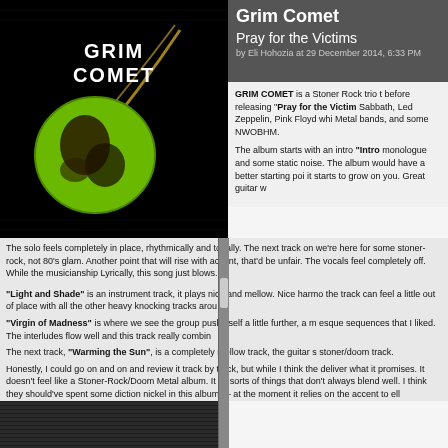[Figure (illustration): Grim Comet album cover — black background with a green planet and comet trail, text reads GRIM COMET]
Grim Comet
Pray for the Victims
by Eli Hohozia at 29 December 2014, 6:33 PM
GRIM COMET is a Stoner Rock trio t before releasing "Pray for the Victims" Sabbath, Led Zeppelin, Pink Floyd whi Metal bands, and some NWOBHM.
The album starts with an intro "Intro" monologue and some static noise. The album would have a better starting poi it starts to grow on you. Great guitar w
The solo feels completely in place, rhythmically and tonally. The next track on we're here for some stoner-rock, not 80's glam. Another point that will rise with accent, that'd be unfair. The vocals feel completely off. While the musicianship Lyrically, this song just blows.
"Light and Shade" is an instrument track, it plays nice and mellow. Nice harmo the track can feel a little out of place with all the other heavy knocking tracks arou
"Virgin of Madness" is where we see the group push itself a little further, a m esque sequences that I liked. The interludes flow well and this track really combin
The next track, "Warming the Sun", is a completely mellow track, the guitar s stoner/doom track.
Honestly, I could go on and on and review it track by track, but while I think the deliver what it promises. It doesn't feel like a Stoner-Rock/Doom Metal album. It all sorts of things that don't always blend well. I think they should've spent some diction nickel in this album — at the moment it relies on the accent to ell